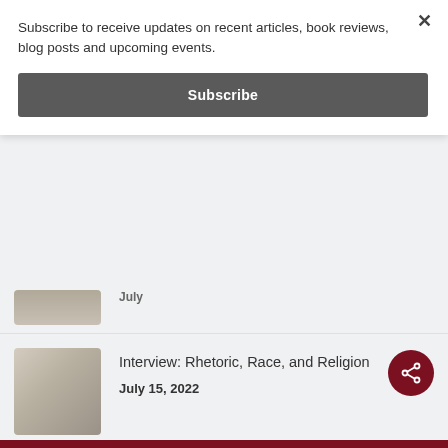Subscribe to receive updates on recent articles, book reviews, blog posts and upcoming events.
Subscribe
[Figure (photo): Partial thumbnail of an article, cut off at top]
Interview: Rhetoric, Race, and Religion
July 15, 2022
[Figure (photo): Dark silhouette thumbnail for Untitled #19 article]
Untitled #19, Magnificent Mile, IL
July 15, 2022
[Figure (photo): Dark thumbnail for How Intellectual Virtues article]
How Intellectual Virtues Can Help Us Build Better